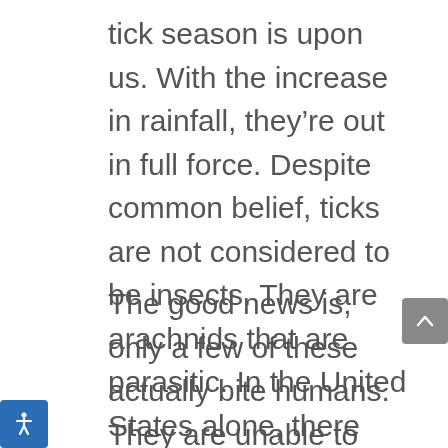tick season is upon us. With the increase in rainfall, they're out in full force. Despite common belief, ticks are not considered to be insects. They are arachnids that are parasitic. In the United States alone, there are nearly 100 different varieties.
The good news is, only a few of these actually bite humans. They are unable to jump or fly. These arachnids are typically located on animals, in grassy areas, or in wooded areas.